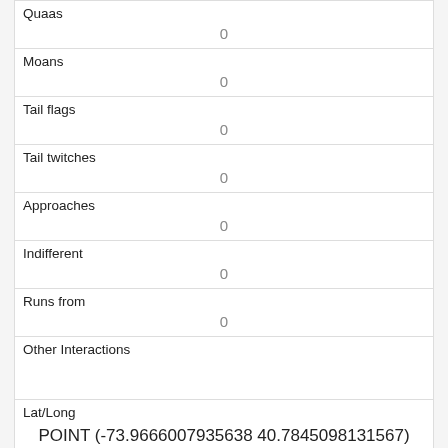| Field | Value |
| --- | --- |
| Quaas | 0 |
| Moans | 0 |
| Tail flags | 0 |
| Tail twitches | 0 |
| Approaches | 0 |
| Indifferent | 0 |
| Runs from | 0 |
| Other Interactions |  |
| Lat/Long | POINT (-73.9666007935638 40.7845098131567) |
| Field |
| --- |
| Link |